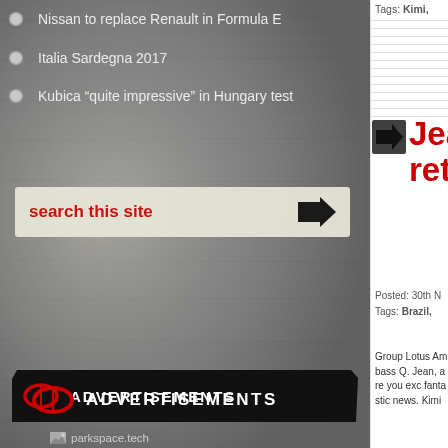Nissan to replace Renault in Formula E
Italia Sardegna 2017
Kubica "quite impressive" in Hungary test
search this site
ADVERTISEMENTS
parkspace.tech
KEEP THIS SITE ALIVE
Loading…
Tags: Kimi,
Jean return
Posted: 30th N
Tags: Brazil,
Group Lotus Ambass Q. Jean, are you exc fantastic news. Kimi
Carl E every NASC
Posted: 18th N
Tags: Carl Ed